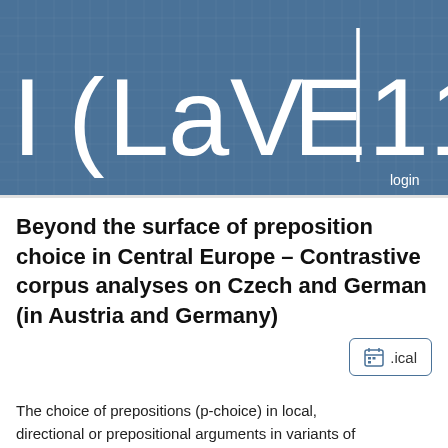[Figure (logo): ICLaVE|11 conference logo on blue grid background with login link]
Beyond the surface of preposition choice in Central Europe – Contrastive corpus analyses on Czech and German (in Austria and Germany)
[Figure (other): .ical calendar button]
The choice of prepositions (p-choice) in local, directional or prepositional arguments in variants of